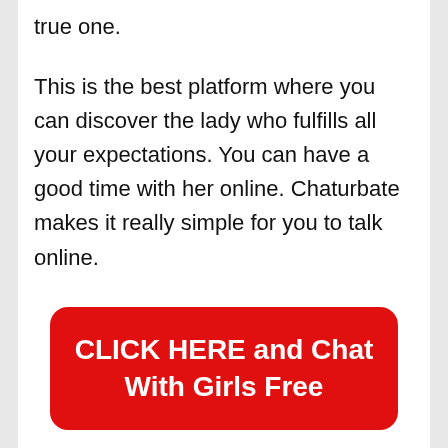true one.
This is the best platform where you can discover the lady who fulfills all your expectations. You can have a good time with her online. Chaturbate makes it really simple for you to talk online.
[Figure (other): Red rounded rectangle button with white bold text reading 'CLICK HERE and Chat With Girls Free']
Here I will expose why this is the best sex